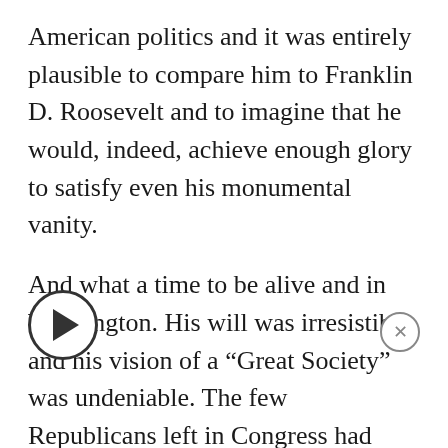American politics and it was entirely plausible to compare him to Franklin D. Roosevelt and to imagine that he would, indeed, achieve enough glory to satisfy even his monumental vanity.
And what a time to be alive and in Washington. His will was irresistible and his vision of a “Great Society” was undeniable. The few Republicans left in Congress had been thoroughly housebroken. They went along with his designs and things “got done.”
To be a policy person was to know glory. So there [was the] ‘War on Poverty.” It ended about as successfully as the one in Vietnam, that country